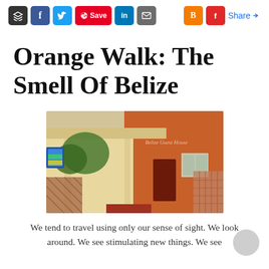[Social share toolbar: layers, Facebook, Twitter, Pinterest Save, LinkedIn, Mail, Blogger, Flipboard, Share]
Orange Walk: The Smell Of Belize
[Figure (photo): Exterior photo of a guesthouse in Orange Walk, Belize — an orange-painted building with a covered porch, windows, and a sign reading 'Belize Guest House']
We tend to travel using only our sense of sight. We look around. We see stimulating new things. We see